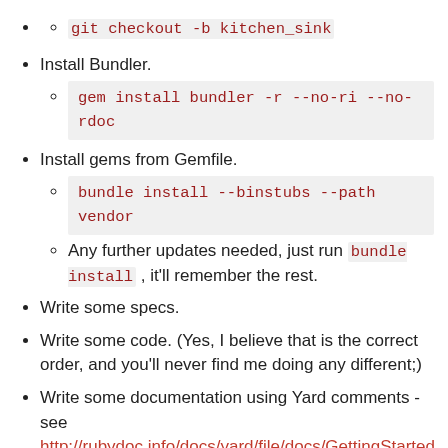git checkout -b kitchen_sink
Install Bundler.
gem install bundler -r --no-ri --no-rdoc
Install gems from Gemfile.
bundle install --binstubs --path vendor
Any further updates needed, just run bundle install , it'll remember the rest.
Write some specs.
Write some code. (Yes, I believe that is the correct order, and you'll never find me doing any different;)
Write some documentation using Yard comments - see http://rubydoc.info/docs/yard/file/docs/GettingStarted.
Use real English (i.e. full stops and commas, no